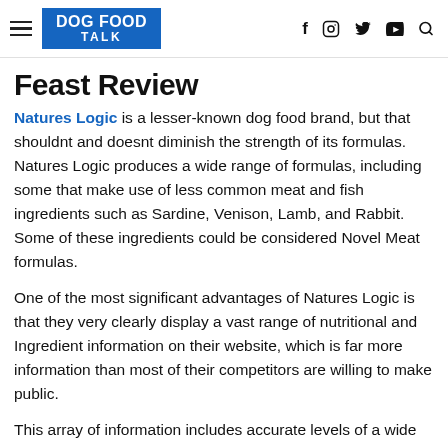DOG FOOD TALK
Feast Review
Natures Logic is a lesser-known dog food brand, but that shouldnt and doesnt diminish the strength of its formulas. Natures Logic produces a wide range of formulas, including some that make use of less common meat and fish ingredients such as Sardine, Venison, Lamb, and Rabbit. Some of these ingredients could be considered Novel Meat formulas.
One of the most significant advantages of Natures Logic is that they very clearly display a vast range of nutritional and Ingredient information on their website, which is far more information than most of their competitors are willing to make public.
This array of information includes accurate levels of a wide variety of micronutrients, vitamins, and minerals. They also